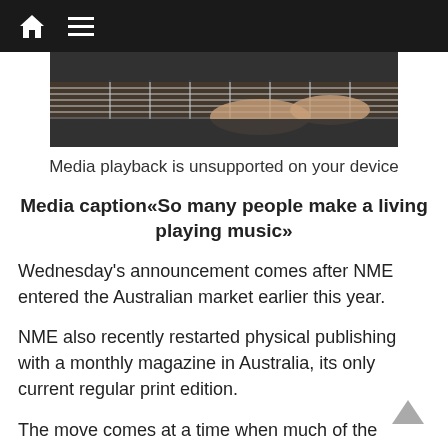Navigation bar with home and menu icons
[Figure (photo): Partial photo of a person playing guitar, showing hands on the fretboard and strings]
Media playback is unsupported on your device
Media caption«So many people make a living playing music»
Wednesday's announcement comes after NME entered the Australian market earlier this year.
NME also recently restarted physical publishing with a monthly magazine in Australia, its only current regular print edition.
The move comes at a time when much of the global media industry is being forced to make significant cuts as it deals with the impact of the coronavirus pandemic.